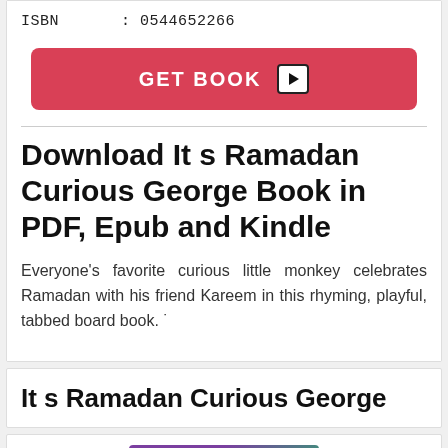ISBN : 0544652266
[Figure (other): Red 'GET BOOK' button with play icon]
Download It s Ramadan Curious George Book in PDF, Epub and Kindle
Everyone's favorite curious little monkey celebrates Ramadan with his friend Kareem in this rhyming, playful, tabbed board book. ˙
It s Ramadan Curious George
[Figure (photo): Partial book cover image with purple and teal colors]